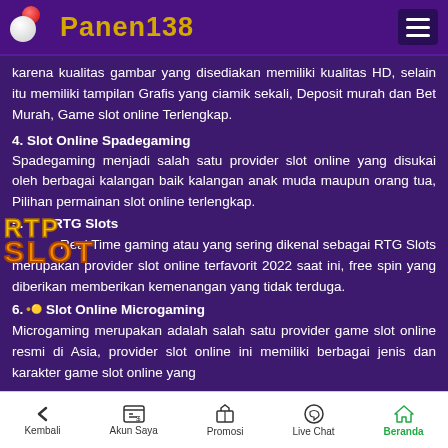Panen138
karena kualitas gambar yang disediakan memiliki kualitas HD, selain itu memiliki tampilan Grafis yang ciamik sekali, Deposit murah dan Bet Murah, Game slot online Terlengkap.
4. Slot Online Spadegaming
Spadegaming menjadi salah satu provider slot online yang disukai oleh berbagai kalangan baik kalangan anak muda maupun orang tua, Pilihan permainan slot online terlengkap.
5. Slot Online RTG Slots
Real Time gaming atau yang sering dikenal sebagai RTG Slots merupakan provider slot online terfavorit 2022 saat ini, free spin yang diberikan memberikan kemenangan yang tidak terduga.
6. Slot Online Microgaming
Microgaming merupakan adalah salah satu provider game slot online resmi di Asia, provider slot online ini memiliki berbagai jenis dan karakter game slot online yang
Kembali | Akun Saya | Promosi | Live Chat | Beranda